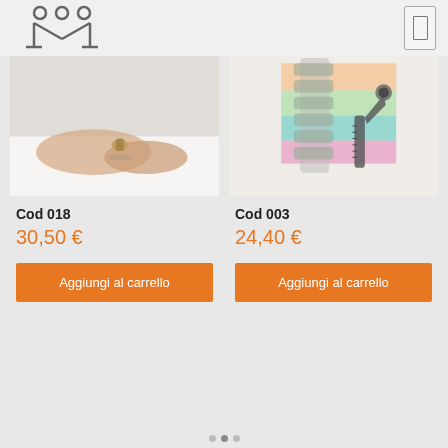[Figure (logo): M-logo with three circles above M shape (stick figure style), gray color]
[Figure (photo): Close-up photo of hands handling a small medical/surgical implant or device on a white surface]
Cod 018
30,50 €
Aggiungi al carrello
[Figure (illustration): Medical illustration of a spine/vertebral column cross-section with colorful horizontal bands (orange, green, teal, pink) and a screw/implant visible]
Cod 003
24,40 €
Aggiungi al carrello